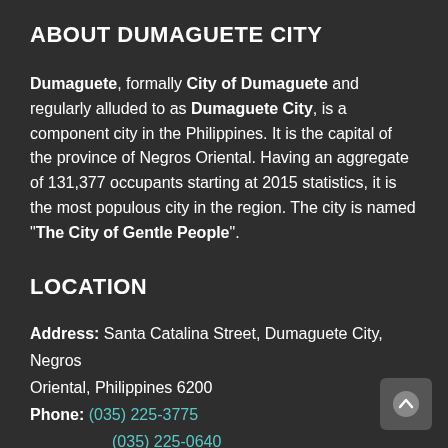ABOUT DUMAGUETE CITY
Dumaguete, formally City of Dumaguete and regularly alluded to as Dumaguete City, is a component city in the Philippines. It is the capital of the province of Negros Oriental. Having an aggregate of 131,377 occupants starting at 2015 statistics, it is the most populous city in the region. The city is named "The City of Gentle People".
LOCATION
Address: Santa Catalina Street, Dumaguete City, Negros Oriental, Philippines 6200
Phone: (035) 225-3775
(035) 225-0640
Email: dumaguete_cmo2016@yahoo.com (Mayor's